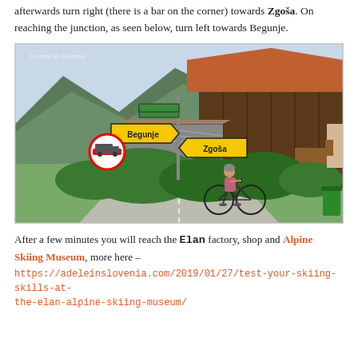afterwards turn right (there is a bar on the corner) towards Zgoša. On reaching the junction, as seen below, turn left towards Begunje.
[Figure (photo): Photo of a woman with a bicycle at a road junction with yellow directional signs pointing to Begunje and Zgoša, with a wooden barn-style building, mountains and trees in the background. Watermark: © Adele in Slovenia]
After a few minutes you will reach the Elan factory, shop and Alpine Skiing Museum, more here – https://adeleinslovenia.com/2019/01/27/test-your-skiing-skills-at-the-elan-alpine-skiing-museum/